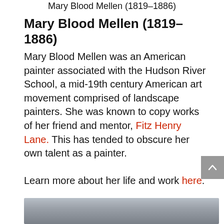Mary Blood Mellen (1819–1886)
Mary Blood Mellen (1819–1886)
Mary Blood Mellen was an American painter associated with the Hudson River School, a mid-19th century American art movement comprised of landscape painters. She was known to copy works of her friend and mentor, Fitz Henry Lane. This has tended to obscure her own talent as a painter.
Learn more about her life and work here.
[Figure (photo): Landscape painting showing a muted grey-blue sky over water or land, consistent with a Hudson River School painting style.]